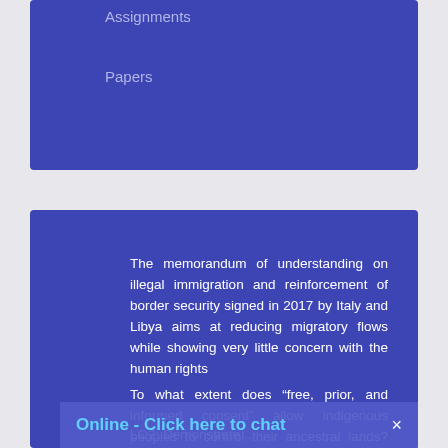Assignments
Papers
The memorandum of understanding on illegal immigration and reinforcement of border security signed in 2017 by Italy and Libya aims at reducing migratory flows while showing very little concern with the human rights
To what extent does “free, prior, and informed consent” allow indigenous peoples to control their ancestral lands? Discuss with special reference to development projects affecting indigenous peoples’ lands.
'The legitimacy of International Criminal Law from Nuremberg to the International Criminal Court has been hobbled by limited jurisdictional reach'. Critically discuss.
LO2: Demonstrate ...
Online - Click here to chat